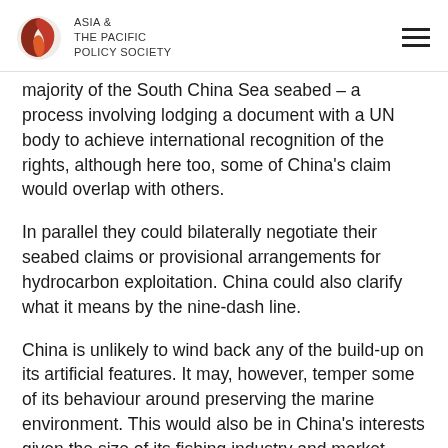ASIA & THE PACIFIC POLICY SOCIETY
majority of the South China Sea seabed – a process involving lodging a document with a UN body to achieve international recognition of the rights, although here too, some of China's claim would overlap with others.
In parallel they could bilaterally negotiate their seabed claims or provisional arrangements for hydrocarbon exploitation. China could also clarify what it means by the nine-dash line.
China is unlikely to wind back any of the build-up on its artificial features. It may, however, temper some of its behaviour around preserving the marine environment. This would also be in China's interests given the size of its fishing industry and market.